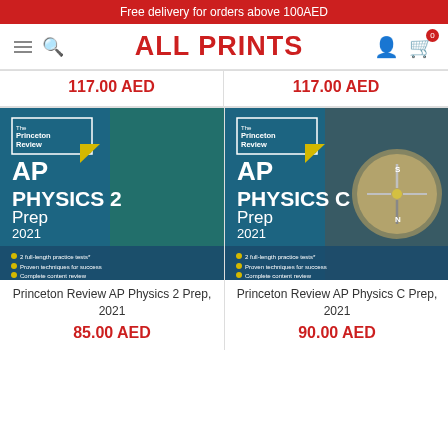Free delivery for orders above 100AED
ALL PRINTS
117.00 AED
117.00 AED
[Figure (photo): Book cover: The Princeton Review AP Physics 2 Prep 2021 - teal background with circuit board imagery, bullet points: 2 full-length practice tests, Proven techniques for success, Complete content review]
Princeton Review AP Physics 2 Prep, 2021
85.00 AED
[Figure (photo): Book cover: The Princeton Review AP Physics C Prep 2021 - teal background with compass imagery, bullet points: 2 full-length practice tests, Proven techniques for success, Complete content review]
Princeton Review AP Physics C Prep, 2021
90.00 AED